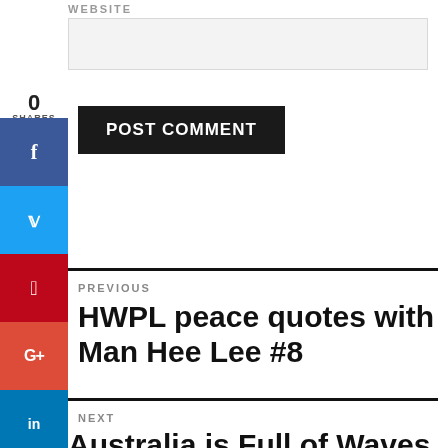WEBSITE
0
SHARES
POST COMMENT
PREVIOUS
HWPL peace quotes with Man Hee Lee #8
NEXT
Australia is Full of Waves of